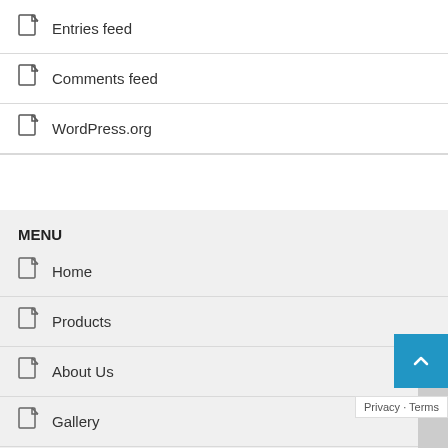Entries feed
Comments feed
WordPress.org
MENU
Home
Products
About Us
Gallery